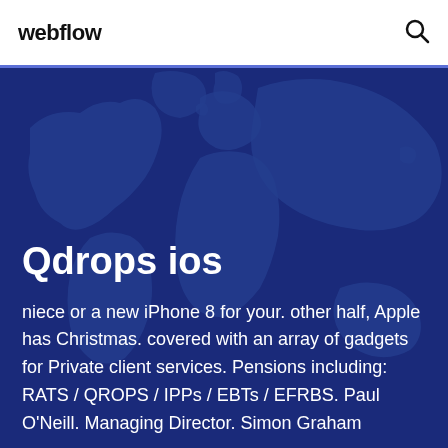webflow
Qdrops ios
niece or a new iPhone 8 for your. other half, Apple has Christmas. covered with an array of gadgets for Private client services. Pensions including: RATS / QROPS / IPPs / EBTs / EFRBS. Paul O'Neill. Managing Director. Simon Graham